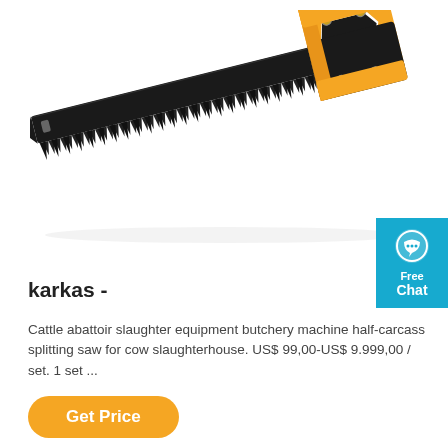[Figure (photo): A hand saw with a black serrated blade and a yellow and black ergonomic handle with screws, shown at a diagonal angle against a white background.]
karkas -
Cattle abattoir slaughter equipment butchery machine half-carcass splitting saw for cow slaughterhouse. US$ 99,00-US$ 9.999,00 / set. 1 set ...
Get Price